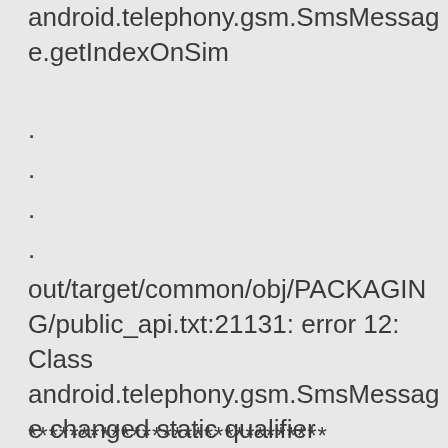android.telephony.gsm.SmsMessage.getIndexOnSim
.
.
.
.
out/target/common/obj/PACKAGING/public_api.txt:21131: error 12: Class android.telephony.gsm.SmsMessage changed static qualifier
*****************************
You have tried to change the API from what has been previously released in
an SDK. Please fix the errors listed